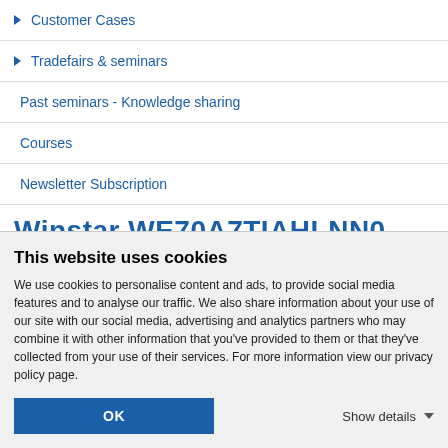Customer Cases
Tradefairs & seminars
Past seminars - Knowledge sharing
Courses
Newsletter Subscription
Winstar WE70A7TIAHLNN0
This website uses cookies
We use cookies to personalise content and ads, to provide social media features and to analyse our traffic. We also share information about your use of our site with our social media, advertising and analytics partners who may combine it with other information that you've provided to them or that they've collected from your use of their services. For more information view our privacy policy page.
OK
Show details